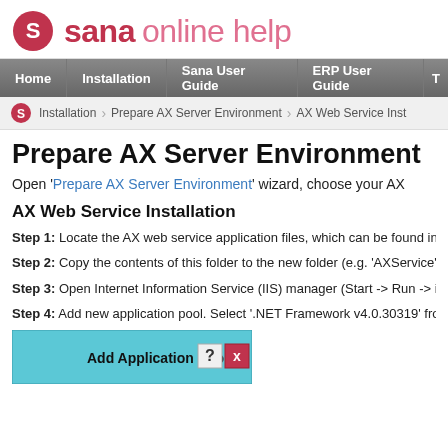sana online help
Home | Installation | Sana User Guide | ERP User Guide | T
Installation > Prepare AX Server Environment > AX Web Service Inst
Prepare AX Server Environment
Open 'Prepare AX Server Environment' wizard, choose your AX
AX Web Service Installation
Step 1: Locate the AX web service application files, which can be found in the 'S...
Step 2: Copy the contents of this folder to the new folder (e.g. 'AXService') at the...
Step 3: Open Internet Information Service (IIS) manager (Start -> Run -> inetmg...
Step 4: Add new application pool. Select '.NET Framework v4.0.30319' from the...
[Figure (screenshot): Add Application Pool dialog box with ? and X buttons on a cyan/teal background]